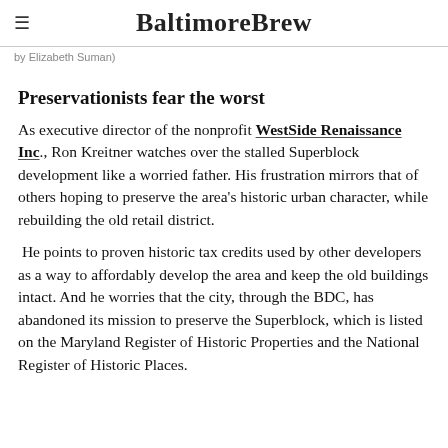BaltimoreBrew
by Elizabeth Suman)
Preservationists fear the worst
As executive director of the nonprofit WestSide Renaissance Inc., Ron Kreitner watches over the stalled Superblock development like a worried father. His frustration mirrors that of others hoping to preserve the area's historic urban character, while rebuilding the old retail district.
He points to proven historic tax credits used by other developers as a way to affordably develop the area and keep the old buildings intact. And he worries that the city, through the BDC, has abandoned its mission to preserve the Superblock, which is listed on the Maryland Register of Historic Properties and the National Register of Historic Places.